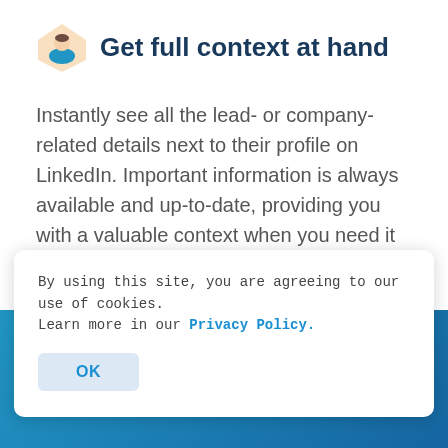Get full context at hand
Instantly see all the lead- or company-related details next to their profile on LinkedIn. Important information is always available and up-to-date, providing you with a valuable context when you need it the most.
START NOW
By using this site, you are agreeing to our use of cookies. Learn more in our Privacy Policy.
OK
...promotion for the Product Hunt community!